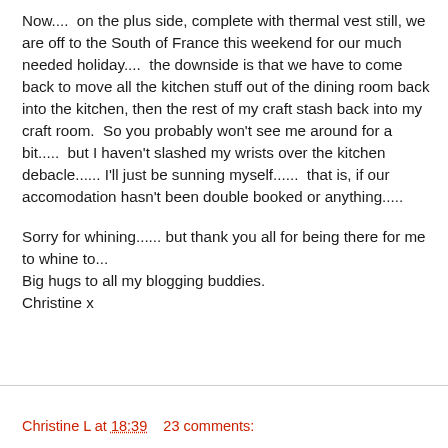Now....  on the plus side, complete with thermal vest still, we are off to the South of France this weekend for our much needed holiday....  the downside is that we have to come back to move all the kitchen stuff out of the dining room back into the kitchen, then the rest of my craft stash back into my craft room.  So you probably won't see me around for a bit.....  but I haven't slashed my wrists over the kitchen debacle...... I'll just be sunning myself......  that is, if our accomodation hasn't been double booked or anything.....
Sorry for whining...... but thank you all for being there for me to whine to...
Big hugs to all my blogging buddies.
Christine x
Christine L at 18:39    23 comments: